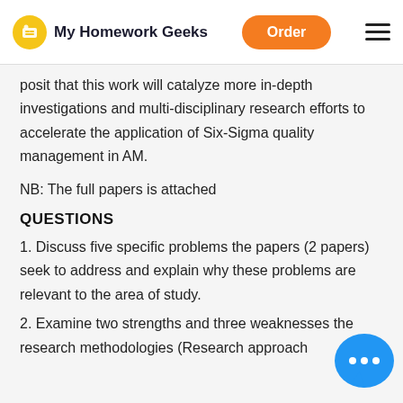My Homework Geeks | Order
posit that this work will catalyze more in-depth investigations and multi-disciplinary research efforts to accelerate the application of Six-Sigma quality management in AM.
NB: The full papers is attached
QUESTIONS
1. Discuss five specific problems the papers (2 papers) seek to address and explain why these problems are relevant to the area of study.
2. Examine two strengths and three weaknesses the research methodologies (Research approach